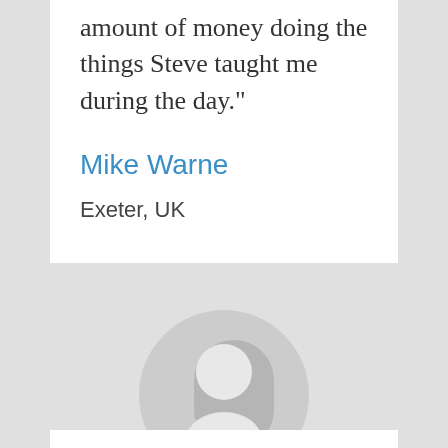amount of money doing the things Steve taught me during the day."
Mike Warne
Exeter, UK
[Figure (illustration): Default user avatar placeholder — a grey circle with a white silhouette of a person (head and shoulders)]